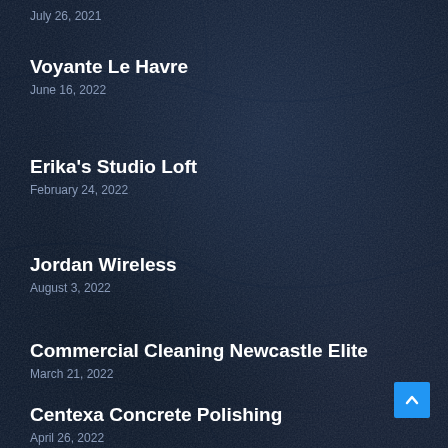July 26, 2021
Voyante Le Havre
June 16, 2022
Erika's Studio Loft
February 24, 2022
Jordan Wireless
August 3, 2022
Commercial Cleaning Newcastle Elite
March 21, 2022
Centexa Concrete Polishing
April 26, 2022